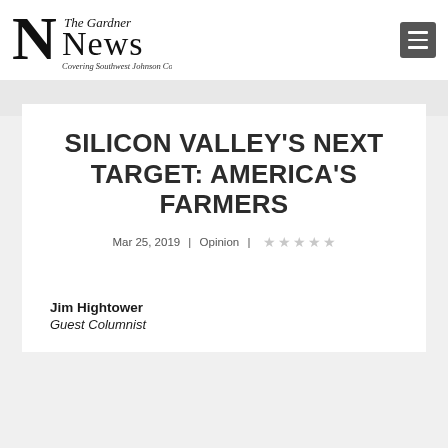[Figure (logo): The Gardner News logo — large stylized 'N' with 'The Gardner News' text and tagline 'Covering Southwest Johnson County']
SILICON VALLEY'S NEXT TARGET: AMERICA'S FARMERS
Mar 25, 2019 | Opinion | ★★★★★
Jim Hightower
Guest Columnist